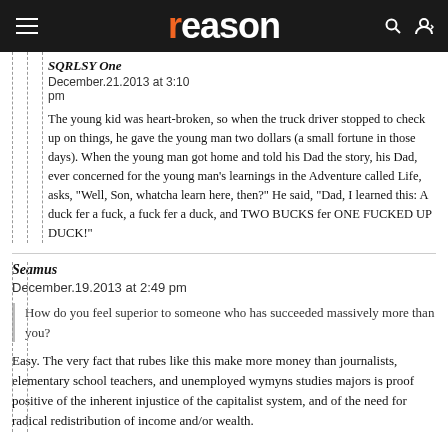reason
SQRLSY One
December.21.2013 at 3:10 pm

The young kid was heart-broken, so when the truck driver stopped to check up on things, he gave the young man two dollars (a small fortune in those days). When the young man got home and told his Dad the story, his Dad, ever concerned for the young man's learnings in the Adventure called Life, asks, "Well, Son, whatcha learn here, then?" He said, "Dad, I learned this: A duck fer a fuck, a fuck fer a duck, and TWO BUCKS fer ONE FUCKED UP DUCK!"
Seamus
December.19.2013 at 2:49 pm

How do you feel superior to someone who has succeeded massively more than you?

Easy. The very fact that rubes like this make more money than journalists, elementary school teachers, and unemployed wymyns studies majors is proof positive of the inherent injustice of the capitalist system, and of the need for radical redistribution of income and/or wealth.